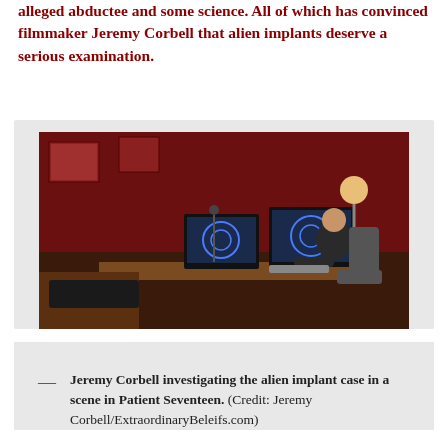alleged abductee and some science. All of which has convinced filmmaker Jeremy Corbell that alien implants deserve a serious examination.
[Figure (photo): A man (Jeremy Corbell) sitting at a desk with multiple computer monitors in a room with red walls and a lamp, working on research.]
Jeremy Corbell investigating the alien implant case in a scene in Patient Seventeen. (Credit: Jeremy Corbell/ExtraordinaryBeleifs.com)
Of all of the fringe ideas in the UFO field, the idea that people are being snatched up by aliens and then returned without their knowledge is pretty hard for many to swallow. Added on top of that the claims